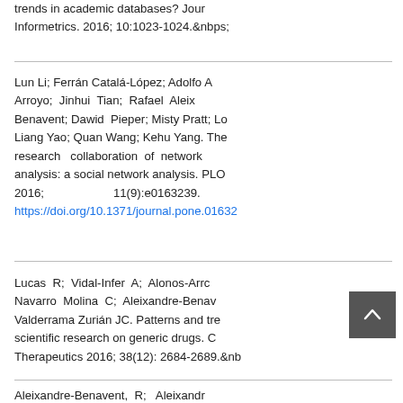trends in academic databases? Journal of Informetrics. 2016; 10:1023-1024.
Lun Li; Ferrán Catalá-López; Adolfo A Arroyo; Jinhui Tian; Rafael Aleixandre-Benavent; Dawid Pieper; Misty Pratt; Lo Liang Yao; Quan Wang; Kehu Yang. The research collaboration of network analysis: a social network analysis. PLOS ONE 2016; 11(9):e0163239. https://doi.org/10.1371/journal.pone.01632
Lucas R; Vidal-Infer A; Alonos-Arroyo; Navarro Molina C; Aleixandre-Benavent; Valderrama Zurián JC. Patterns and trends scientific research on generic drugs. Clinical Therapeutics 2016; 38(12): 2684-2689.
Aleixandre-Benavent, R; Aleixandre